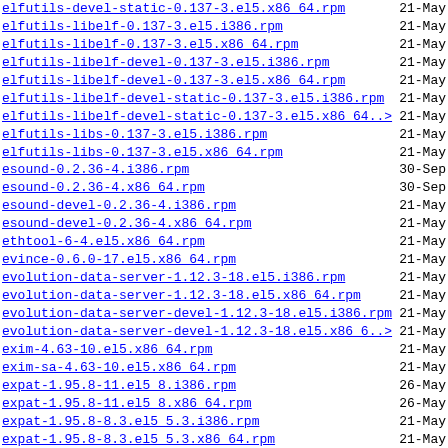elfutils-devel-static-0.137-3.el5.x86_64.rpm  21-May
elfutils-libelf-0.137-3.el5.i386.rpm  21-May
elfutils-libelf-0.137-3.el5.x86_64.rpm  21-May
elfutils-libelf-devel-0.137-3.el5.i386.rpm  21-May
elfutils-libelf-devel-0.137-3.el5.x86_64.rpm  21-May
elfutils-libelf-devel-static-0.137-3.el5.i386.rpm  21-May
elfutils-libelf-devel-static-0.137-3.el5.x86_64..>  21-May
elfutils-libs-0.137-3.el5.i386.rpm  21-May
elfutils-libs-0.137-3.el5.x86_64.rpm  21-May
esound-0.2.36-4.i386.rpm  30-Sep
esound-0.2.36-4.x86_64.rpm  30-Sep
esound-devel-0.2.36-4.i386.rpm  21-May
esound-devel-0.2.36-4.x86_64.rpm  21-May
ethtool-6-4.el5.x86_64.rpm  21-May
evince-0.6.0-17.el5.x86_64.rpm  21-May
evolution-data-server-1.12.3-18.el5.i386.rpm  21-May
evolution-data-server-1.12.3-18.el5.x86_64.rpm  21-May
evolution-data-server-devel-1.12.3-18.el5.i386.rpm  21-May
evolution-data-server-devel-1.12.3-18.el5.x86_6..>  21-May
exim-4.63-10.el5.x86_64.rpm  21-May
exim-sa-4.63-10.el5.x86_64.rpm  21-May
expat-1.95.8-11.el5_8.i386.rpm  26-May
expat-1.95.8-11.el5_8.x86_64.rpm  26-May
expat-1.95.8-8.3.el5_5.3.i386.rpm  21-May
expat-1.95.8-8.3.el5_5.3.x86_64.rpm  21-May
expat-devel-1.95.8-11.el5_8.i386.rpm  26-May
expat-devel-1.95.8-11.el5_8.x86_64.rpm  26-May
expat-devel-1.95.8-8.3.el5_5.3.i386.rpm  21-May
expat-devel-1.95.8-8.3.el5_5.3.x86_64.rpm  21-May
file-4.17-21.x86_64.rpm  21-May
file-4.17-29.x86_64.rpm  26-May